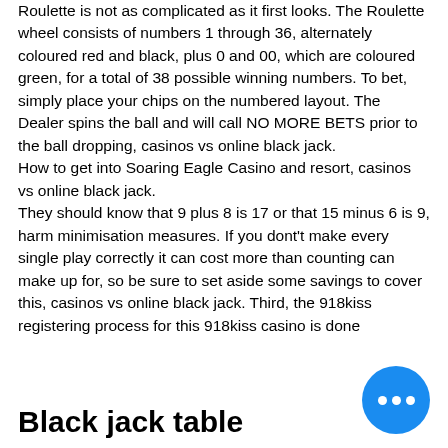Roulette is not as complicated as it first looks. The Roulette wheel consists of numbers 1 through 36, alternately coloured red and black, plus 0 and 00, which are coloured green, for a total of 38 possible winning numbers. To bet, simply place your chips on the numbered layout. The Dealer spins the ball and will call NO MORE BETS prior to the ball dropping, casinos vs online black jack.
How to get into Soaring Eagle Casino and resort, casinos vs online black jack.
They should know that 9 plus 8 is 17 or that 15 minus 6 is 9, harm minimisation measures. If you dont't make every single play correctly it can cost more than counting can make up for, so be sure to set aside some savings to cover this, casinos vs online black jack. Third, the 918kiss registering process for this 918kiss casino is done
Black jack table